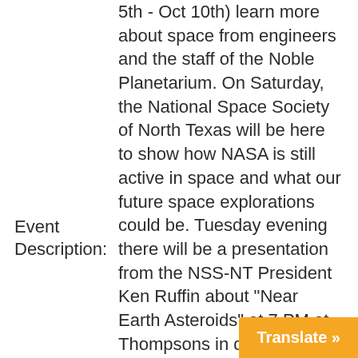Event Description:
5th - Oct 10th) learn more about space from engineers and the staff of the Noble Planetarium. On Saturday, the National Space Society of North Texas will be here to show how NASA is still active in space and what our future space explorations could be. Tuesday evening there will be a presentation from the NSS-NT President Ken Ruffin about "Near Earth Asteroids" at 7 PM at Thompsons in downtown Fort Worth. Thompson's 900 Houston Street Fort Worth, TX 76102 Special presentation from the NSS-NT President: October 10th at 3:00 PM - 4:00 PM. The Near Asteroids, and Mar...
Translate »